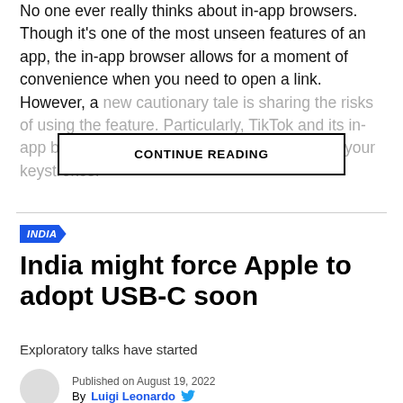No one ever really thinks about in-app browsers. Though it's one of the most unseen features of an app, the in-app browser allows for a moment of convenience when you need to open a link. However, a new cautionary tale is sharing the risks of using the feature. Particularly, TikTok and its in-app browser are reportedly capable of logging your keystrokes.
CONTINUE READING
INDIA
India might force Apple to adopt USB-C soon
Exploratory talks have started
Published on August 19, 2022
By Luigi Leonardo